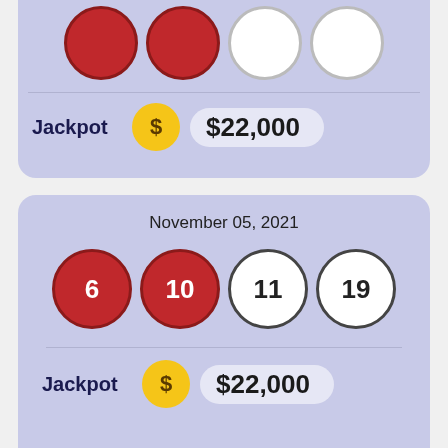[Figure (infographic): Lottery card (top, partially visible) showing red and white lottery balls and Jackpot of $22,000]
Jackpot  $22,000
[Figure (infographic): Lottery card for November 05, 2021 showing balls 6, 10, 11, 19 and Jackpot of $22,000]
November 05, 2021
6  10  11  19
Jackpot  $22,000
[Figure (infographic): Advertisement banner: Petco - Your One-Stop Summer Pet Shop]